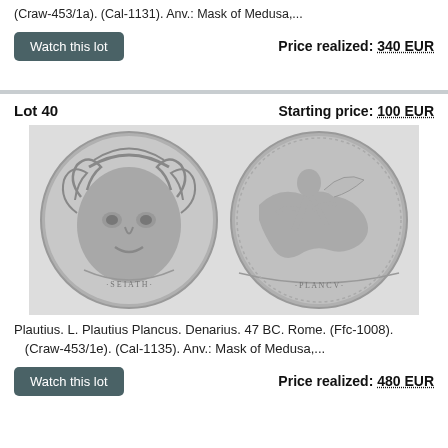(Craw-453/1a). (Cal-1131). Anv.: Mask of Medusa,...
Watch this lot
Price realized: 340 EUR
Lot 40
Starting price: 100 EUR
[Figure (photo): Two ancient Roman silver denarius coins showing obverse with Mask of Medusa facing front and reverse with figure on horseback]
Plautius. L. Plautius Plancus. Denarius. 47 BC. Rome. (Ffc-1008). (Craw-453/1e). (Cal-1135). Anv.: Mask of Medusa,...
Watch this lot
Price realized: 480 EUR